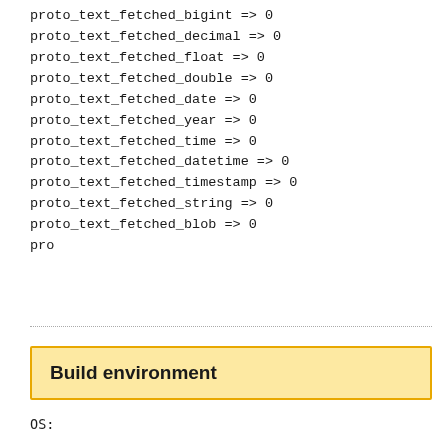proto_text_fetched_bigint => 0
proto_text_fetched_decimal => 0
proto_text_fetched_float => 0
proto_text_fetched_double => 0
proto_text_fetched_date => 0
proto_text_fetched_year => 0
proto_text_fetched_time => 0
proto_text_fetched_datetime => 0
proto_text_fetched_timestamp => 0
proto_text_fetched_string => 0
proto_text_fetched_blob => 0
pro
Build environment
OS: